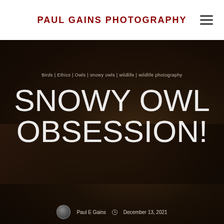PAUL GAINS PHOTOGRAPHY
Birds | Ethics | Owls | snowy owls | wildlife | wildlife photography
SNOWY OWL OBSESSION!
Paul E Gains   December 13, 2021